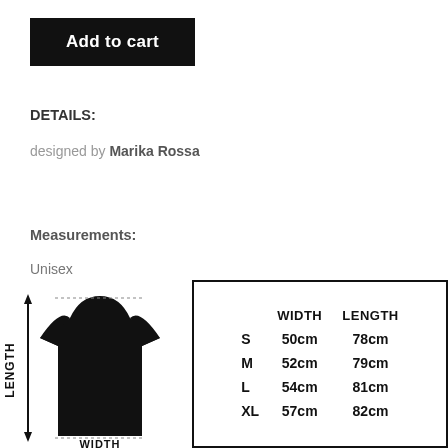[Figure (other): Add to cart button — black rectangular button with white bold text 'Add to cart']
DETAILS:
designed by Marika Rossa
Measurements:
Unisex
[Figure (infographic): T-shirt diagram showing LENGTH (vertical arrow) and WIDTH (horizontal arrow at bottom) labels on a black t-shirt silhouette]
|  | WIDTH | LENGTH |
| --- | --- | --- |
| S | 50cm | 78cm |
| M | 52cm | 79cm |
| L | 54cm | 81cm |
| XL | 57cm | 82cm |